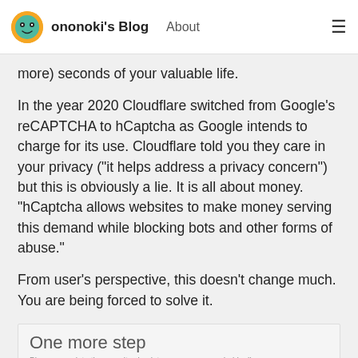ononoki's Blog  About
more) seconds of your valuable life.
In the year 2020 Cloudflare switched from Google's reCAPTCHA to hCaptcha as Google intends to charge for its use. Cloudflare told you they care in your privacy ("it helps address a privacy concern") but this is obviously a lie. It is all about money. "hCaptcha allows websites to make money serving this demand while blocking bots and other forms of abuse."
From user's perspective, this doesn't change much. You are being forced to solve it.
[Figure (screenshot): Screenshot of a CAPTCHA page with title 'One more step', subtitle 'Please complete the security check to access www.androidpolice.com', and a browser window showing a CAPTCHA challenge interface.]